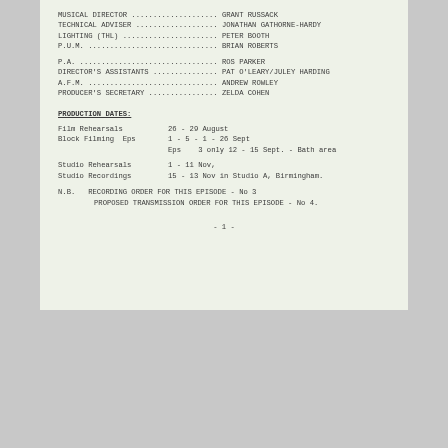MUSICAL DIRECTOR ........................ GRANT RUSSACK
TECHNICAL ADVISER ..................... JONATHAN GATHORNE-HARDY
LIGHTING (THL) ........................ PETER BOOTH
P.U.M. ................................ BRIAN ROBERTS
P.A. .................................. ROS PARKER
DIRECTOR'S ASSISTANTS ................. PAT O'LEARY/JULEY HARDING
A.F.M. ................................ ANDREW ROWLEY
PRODUCER'S SECRETARY .................. ZELDA COHEN
PRODUCTION DATES:
Film Rehearsals       26 - 29 August
Block Filming  Eps    1 - 5 - 1 - 26 Sept
               Eps    3 only 12 - 15 Sept. - Bath area
Studio Rehearsals     1 - 11 Nov,
Studio Recordings     15 - 13 Nov in Studio A, Birmingham.
N.B.  RECORDING ORDER FOR THIS EPISODE - No 3
      PROPOSED TRANSMISSION ORDER FOR THIS EPISODE - No 4.
- 1 -